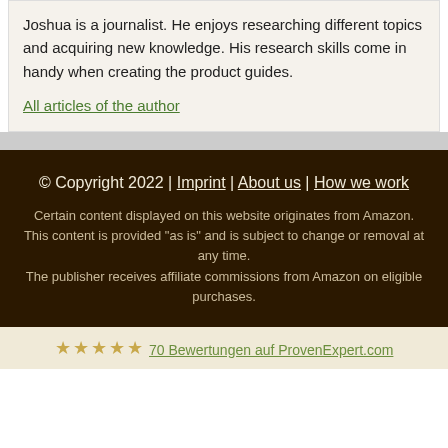Joshua is a journalist. He enjoys researching different topics and acquiring new knowledge. His research skills come in handy when creating the product guides.
All articles of the author
© Copyright 2022 | Imprint | About us | How we work
Certain content displayed on this website originates from Amazon. This content is provided "as is" and is subject to change or removal at any time.
The publisher receives affiliate commissions from Amazon on eligible purchases.
★★★★★ 70 Bewertungen auf ProvenExpert.com